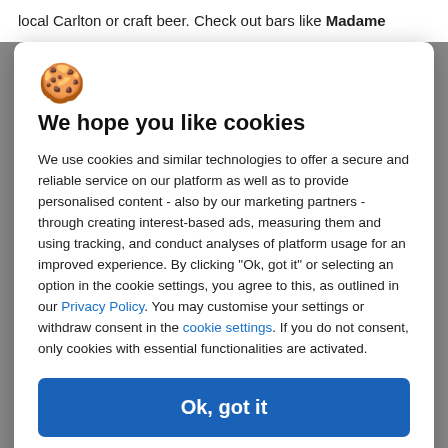local Carlton or craft beer. Check out bars like Madame
[Figure (illustration): Cookie emoji icon (🍪)]
We hope you like cookies
We use cookies and similar technologies to offer a secure and reliable service on our platform as well as to provide personalised content - also by our marketing partners - through creating interest-based ads, measuring them and using tracking, and conduct analyses of platform usage for an improved experience. By clicking "Ok, got it" or selecting an option in the cookie settings, you agree to this, as outlined in our Privacy Policy. You may customise your settings or withdraw consent in the cookie settings. If you do not consent, only cookies with essential functionalities are activated.
Ok, got it
Cookie settings